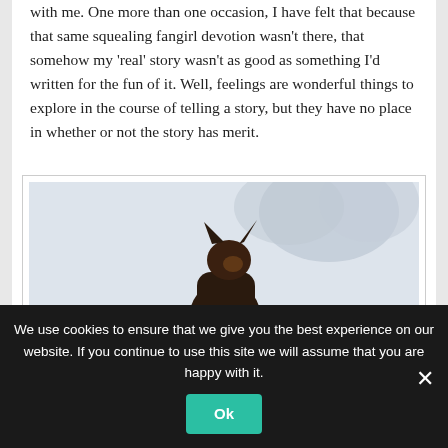with me. One more than one occasion, I have felt that because that same squealing fangirl devotion wasn't there, that somehow my 'real' story wasn't as good as something I'd written for the fun of it. Well, feelings are wonderful things to explore in the course of telling a story, but they have no place in whether or not the story has merit.
[Figure (photo): A German Shepherd dog on a leash standing in snow, viewed from behind/side, looking up toward snowy trees.]
We use cookies to ensure that we give you the best experience on our website. If you continue to use this site we will assume that you are happy with it.